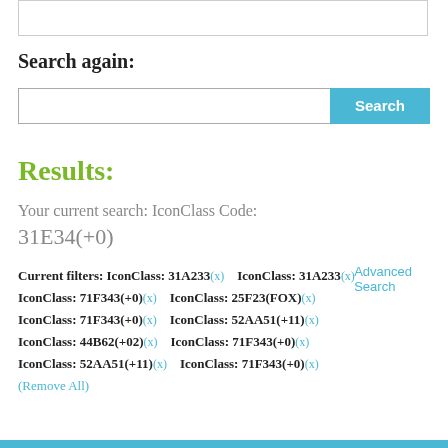Search again:
Search [input] [Search button]
Advanced Search
Results:
Your current search: IconClass Code: 31E34(+0)
Current filters: IconClass: 31A233(x)  IconClass: 31A233(x) IconClass: 71F343(+0)(x)  IconClass: 25F23(FOX)(x) IconClass: 71F343(+0)(x)  IconClass: 52AA51(+11)(x) IconClass: 44B62(+02)(x)  IconClass: 71F343(+0)(x) IconClass: 52AA51(+11)(x)  IconClass: 71F343(+0)(x) (Remove All)